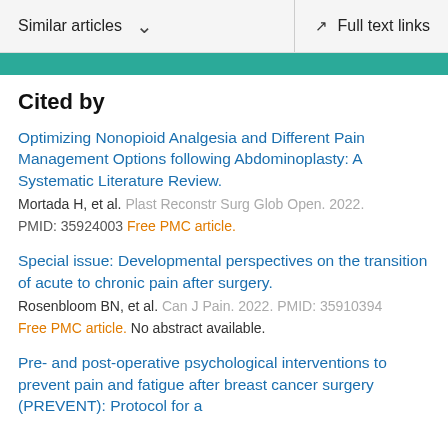Similar articles  ∨    Full text links
Cited by
Optimizing Nonopioid Analgesia and Different Pain Management Options following Abdominoplasty: A Systematic Literature Review.
Mortada H, et al. Plast Reconstr Surg Glob Open. 2022.
PMID: 35924003 Free PMC article.
Special issue: Developmental perspectives on the transition of acute to chronic pain after surgery.
Rosenbloom BN, et al. Can J Pain. 2022. PMID: 35910394
Free PMC article. No abstract available.
Pre- and post-operative psychological interventions to prevent pain and fatigue after breast cancer surgery (PREVENT): Protocol for a